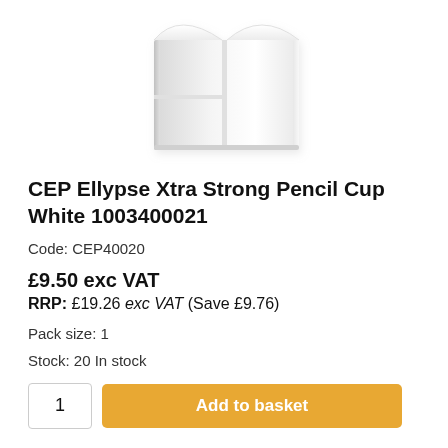[Figure (photo): White plastic pencil cup/desk organizer with multiple compartments, shown on white background]
CEP Ellypse Xtra Strong Pencil Cup White 1003400021
Code: CEP40020
£9.50 exc VAT
RRP: £19.26 exc VAT (Save £9.76)
Pack size: 1
Stock: 20 In stock